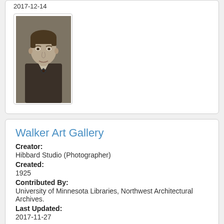2017-12-14
[Figure (photo): Black and white portrait photograph of a young man in a suit and bow tie, from approximately the 1920s era.]
Walker Art Gallery
Creator:
Hibbard Studio (Photographer)
Created:
1925
Contributed By:
University of Minnesota Libraries, Northwest Architectural Archives.
Last Updated:
2017-11-27